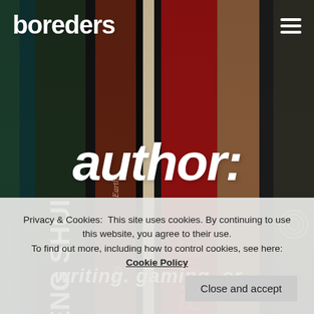[Figure (photo): A close-up photo of book spines on a bookshelf, including books titled 'Feng Shui', 'Ding Earth', 'PRIME' and others. Used as background image.]
boreders
author:
writing. gaming. cr...
Privacy & Cookies:  This site uses cookies. By continuing to use this website, you agree to their use.
To find out more, including how to control cookies, see here: Cookie Policy
Close and accept